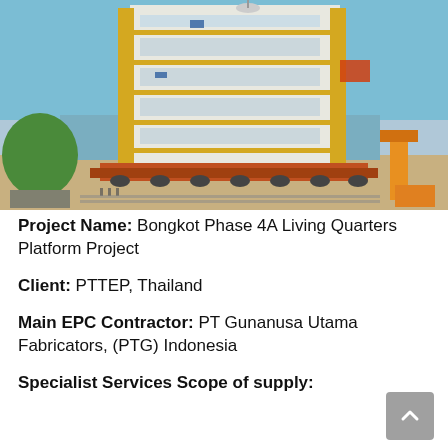[Figure (photo): Photograph of a large offshore living quarters platform module being transported on a heavy-lift vehicle at a coastal fabrication yard. The structure is a multi-story white and yellow module. Blue sea and sky visible in the background.]
Project Name: Bongkot Phase 4A Living Quarters Platform Project
Client: PTTEP, Thailand
Main EPC Contractor: PT Gunanusa Utama Fabricators, (PTG) Indonesia
Specialist Services Scope of supply: